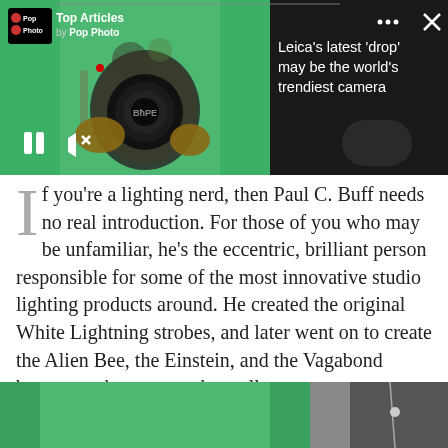[Figure (screenshot): Top section showing a person in a green jacket holding a camouflage-patterned Leica camera with a BAPE lens cap, with a dark panel overlay on the right showing article title, and Pop Photo Top Articles badge on the left]
Leica's latest 'drop' may be the world's trendiest camera
If you're a lighting nerd, then Paul C. Buff needs no real introduction. For those of you who may be unfamiliar, he's the eccentric, brilliant person responsible for some of the most innovative studio lighting products around. He created the original White Lightning strobes, and later went on to create the Alien Bee, the Einstein, and the Vagabond battery pack to power them all.
[Figure (photo): Bottom partial image showing a person in a green jacket]